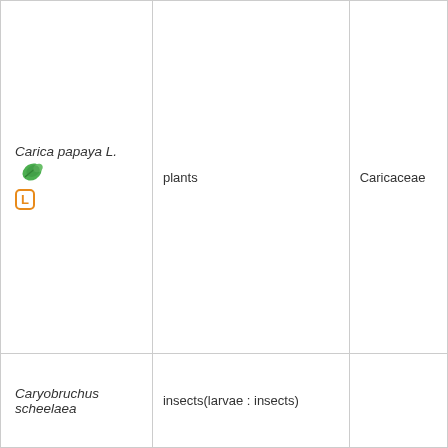| Species | Category | Family |
| --- | --- | --- |
| Carica papaya L. [L] | plants | Caricaceae |
| Caryobruchus scheelaea | insects(larvae : insects) |  |